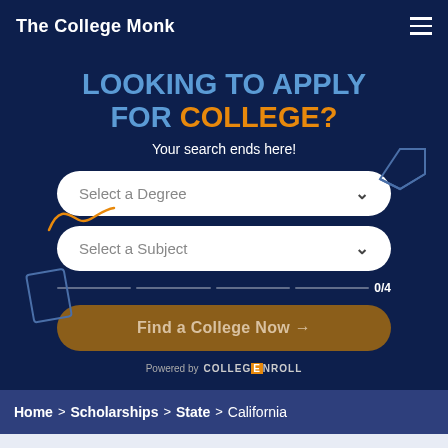The College Monk
LOOKING TO APPLY FOR COLLEGE?
Your search ends here!
[Figure (screenshot): Select a Degree dropdown field with chevron arrow]
[Figure (screenshot): Select a Subject dropdown field with chevron arrow]
0/4
[Figure (screenshot): Find a College Now button with arrow]
Powered by COLLEGE NROLL
Home > Scholarships > State > California